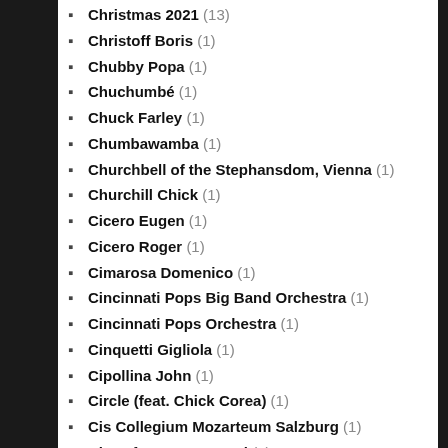Christmas 2021 (13)
Christoff Boris (1)
Chubby Popa (1)
Chuchumbé (1)
Chuck Farley (1)
Chumbawamba (1)
Churchbell of the Stephansdom, Vienna (1)
Churchill Chick (1)
Cicero Eugen (1)
Cicero Roger (1)
Cimarosa Domenico (1)
Cincinnati Pops Big Band Orchestra (1)
Cincinnati Pops Orchestra (1)
Cinquetti Gigliola (1)
Cipollina John (1)
Circle (feat. Chick Corea) (1)
Cis Collegium Mozarteum Salzburg (1)
City Of Coventry Band (1)
City Of London Sinfonia (1)
Clan/Destine (1)
Clannad (4)
Clapton Eric (26)